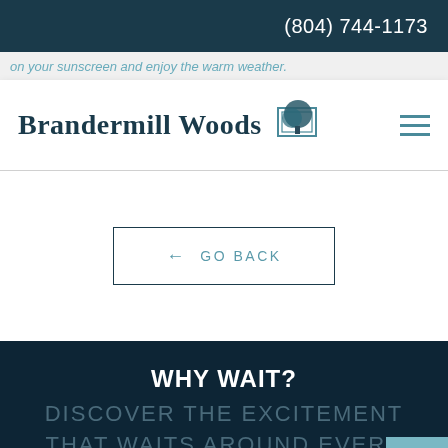(804) 744-1173
on your sunscreen and enjoy the warm weather.
[Figure (logo): Brandermill Woods logo with tree icon]
GO BACK
WHY WAIT?
DISCOVER THE EXCITEMENT THAT WAITS AROUND EVERY CORNER